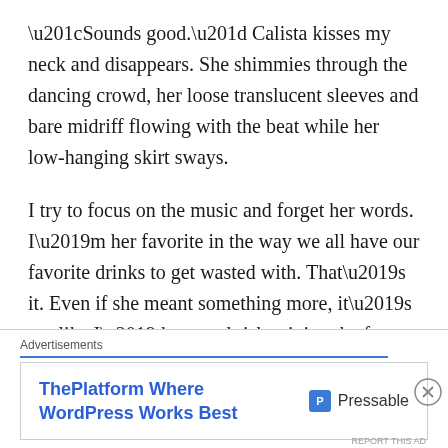“Sounds good.” Calista kisses my neck and disappears. She shimmies through the dancing crowd, her loose translucent sleeves and bare midriff flowing with the beat while her low-hanging skirt sways.
I try to focus on the music and forget her words. I’m her favorite in the way we all have our favorite drinks to get wasted with. That’s it. Even if she meant something more, it’s not like I’d pry and risk ruining the fun we have. Trying to get close to people, opening up to them, that’s the quickest way to let things go to shit, especially in the Faerie Realm. And I don’t mean just bad
Advertisements
[Figure (other): Advertisement banner for Pressable: 'ThePlatform Where WordPress Works Best' with Pressable logo]